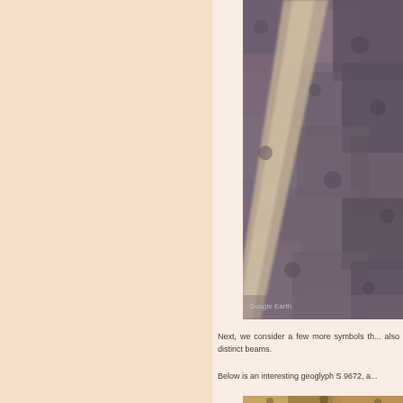[Figure (photo): Aerial/satellite image from Google Earth showing a geoglyph or landscape feature — a pale diagonal streak or line crossing rocky, brownish-grey scrubby terrain. The Google Earth watermark is visible in the lower left of the image.]
Next, we consider a few more symbols th... also distinct beams.
Below is an interesting geoglyph S 9672, a...
[Figure (photo): Partial aerial/satellite image showing sandy/rocky terrain, partially cropped at page bottom.]